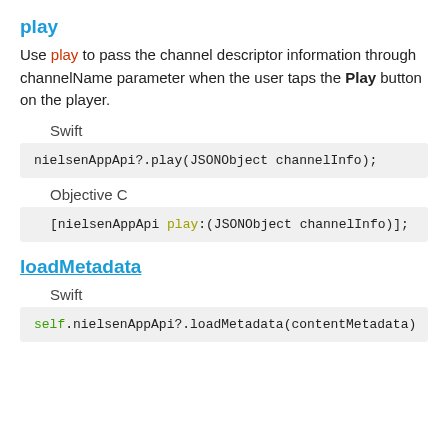play
Use play to pass the channel descriptor information through channelName parameter when the user taps the Play button on the player.
Swift
nielsenAppApi?.play(JSONObject channelInfo);
Objective C
[nielsenAppApi play:(JSONObject channelInfo)];
loadMetadata
Swift
self.nielsenAppApi?.loadMetadata(contentMetadata)